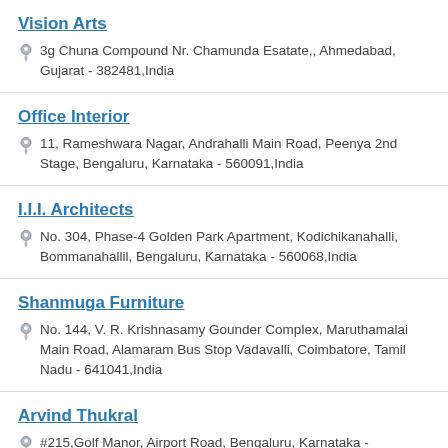Vision Arts
3g Chuna Compound Nr. Chamunda Esatate,, Ahmedabad, Gujarat - 382481,India
Office Interior
11, Rameshwara Nagar, Andrahalli Main Road, Peenya 2nd Stage, Bengaluru, Karnataka - 560091,India
I.I.I. Architects
No. 304, Phase-4 Golden Park Apartment, Kodichikanahalli, Bommanahallil, Bengaluru, Karnataka - 560068,India
Shanmuga Furniture
No. 144, V. R. Krishnasamy Gounder Complex, Maruthamalai Main Road, Alamaram Bus Stop Vadavalli, Coimbatore, Tamil Nadu - 641041,India
Arvind Thukral
#215,Golf Manor, Airport Road, Bengaluru, Karnataka - 560017,India